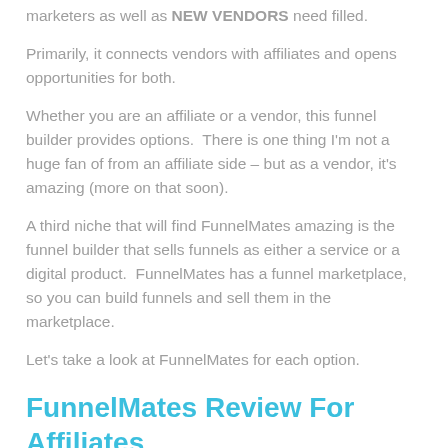marketers as well as NEW VENDORS need filled.
Primarily, it connects vendors with affiliates and opens opportunities for both.
Whether you are an affiliate or a vendor, this funnel builder provides options.  There is one thing I'm not a huge fan of from an affiliate side – but as a vendor, it's amazing (more on that soon).
A third niche that will find FunnelMates amazing is the funnel builder that sells funnels as either a service or a digital product.  FunnelMates has a funnel marketplace, so you can build funnels and sell them in the marketplace.
Let's take a look at FunnelMates for each option.
FunnelMates Review For Affiliates